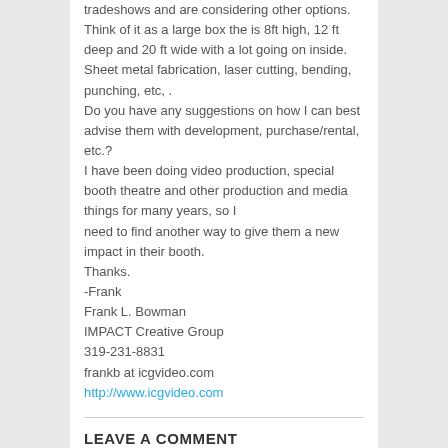tradeshows and are considering other options.
Think of it as a large box the is 8ft high, 12 ft deep and 20 ft wide with a lot going on inside. Sheet metal fabrication, laser cutting, bending, punching, etc, .
Do you have any suggestions on how I can best advise them with development, purchase/rental, etc.?
I have been doing video production, special booth theatre and other production and media things for many years, so I
need to find another way to give them a new impact in their booth.
Thanks.
-Frank
Frank L. Bowman
IMPACT Creative Group
319-231-8831
frankb at icgvideo.com
http://www.icgvideo.com
LEAVE A COMMENT
Your Message (required)